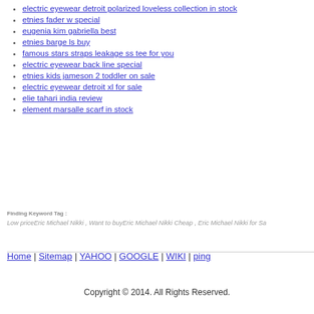electric eyewear detroit polarized loveless collection in stock
etnies fader w special
eugenia kim gabriella best
etnies barge ls buy
famous stars straps leakage ss tee for you
electric eyewear back line special
etnies kids jameson 2 toddler on sale
electric eyewear detroit xl for sale
elie tahari india review
element marsalle scarf in stock
Finding Keyword Tag :
Low priceEric Michael Nikki , Want to buyEric Michael Nikki Cheap , Eric Michael Nikki for Sa
Home | Sitemap | YAHOO | GOOGLE | WIKI | ping
Copyright © 2014. All Rights Reserved.